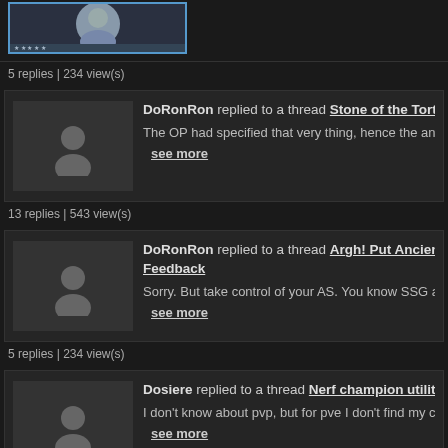[Figure (photo): User avatar image at top, partially visible, appears to be a character portrait with blue border]
5 replies | 234 view(s)
DoRonRon replied to a thread Stone of the Tortoise ar...
[Figure (illustration): Default gray user avatar silhouette]
The OP had specified that very thing, hence the answers we -
see more
13 replies | 543 view(s)
DoRonRon replied to a thread Argh! Put Ancient Scrip... Feedback
[Figure (illustration): Default gray user avatar silhouette]
Sorry. But take control of your AS. You know SSG aren't goin...
see more
5 replies | 234 view(s)
Dosiere replied to a thread Nerf champion utility & sel...
[Figure (illustration): Default gray user avatar silhouette]
I don't know about pvp, but for pve I don't find my champ to b...
see more
186 replies | 25105 view(s)
laeron2000 replied to a thread Two Landroval natives l...